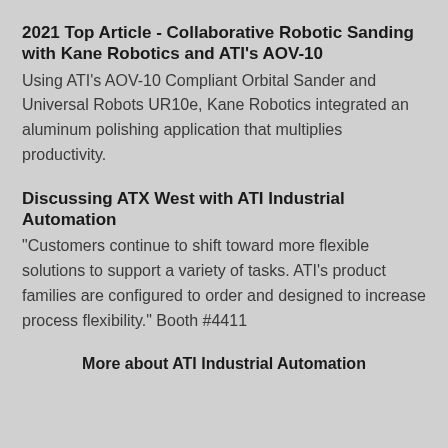2021 Top Article - Collaborative Robotic Sanding with Kane Robotics and ATI's AOV-10
Using ATI's AOV-10 Compliant Orbital Sander and Universal Robots UR10e, Kane Robotics integrated an aluminum polishing application that multiplies productivity.
Discussing ATX West with ATI Industrial Automation
“Customers continue to shift toward more flexible solutions to support a variety of tasks. ATI’s product families are configured to order and designed to increase process flexibility.” Booth #4411
More about ATI Industrial Automation